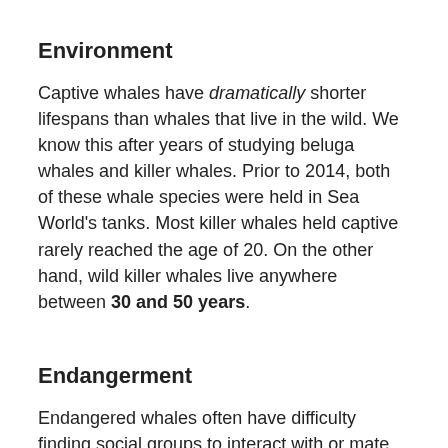Environment
Captive whales have dramatically shorter lifespans than whales that live in the wild. We know this after years of studying beluga whales and killer whales. Prior to 2014, both of these whale species were held in Sea World's tanks. Most killer whales held captive rarely reached the age of 20. On the other hand, wild killer whales live anywhere between 30 and 50 years.
Endangerment
Endangered whales often have difficulty finding social groups to interact with or mate with because there are so few of their species left. Endangered